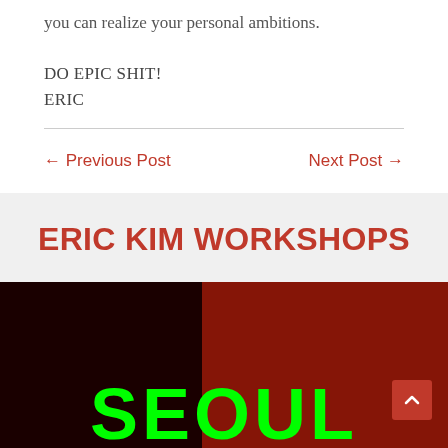you can realize your personal ambitions.
DO EPIC SHIT!
ERIC
← Previous Post
Next Post →
ERIC KIM WORKSHOPS
[Figure (photo): Dark street scene with large SEOUL text in bright green neon letters at bottom, red-tinted architectural elements in background]